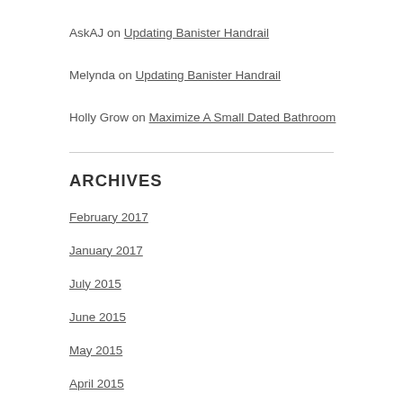AskAJ on Updating Banister Handrail
Melynda on Updating Banister Handrail
Holly Grow on Maximize A Small Dated Bathroom
ARCHIVES
February 2017
January 2017
July 2015
June 2015
May 2015
April 2015
February 2015